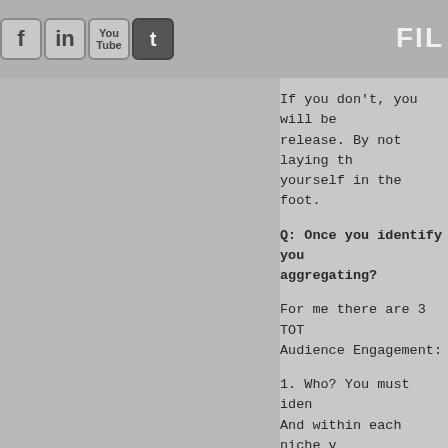FIL
If you don't, you will be release. By not laying th yourself in the foot.
Q: Once you identify you aggregating?
For me there are 3 TOT Audience Engagement:
1. Who? You must iden And within each niche y each niche.
2. Where? You must de receives information – a Some audiences don't us Facebook or Ning more t